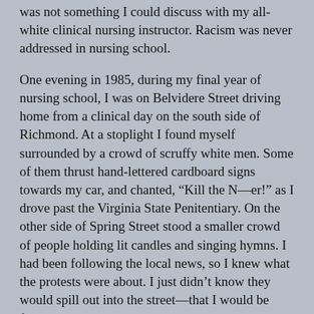was not something I could discuss with my all-white clinical nursing instructor. Racism was never addressed in nursing school.
One evening in 1985, during my final year of nursing school, I was on Belvidere Street driving home from a clinical day on the south side of Richmond. At a stoplight I found myself surrounded by a crowd of scruffy white men. Some of them thrust hand-lettered cardboard signs towards my car, and chanted, “Kill the N—er!” as I drove past the Virginia State Penitentiary. On the other side of Spring Street stood a smaller crowd of people holding lit candles and singing hymns. I had been following the local news, so I knew what the protests were about. I just didn’t know they would spill out into the street—that I would be forced to see and hear them. I also didn’t realize how racist and hate-filled they’d be. That part was politely-conveniently- left out of